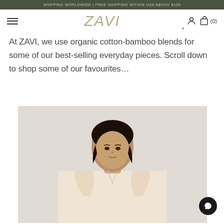SHIPPING WORLDWIDE | FREE SHIPPING WITHIN USA ABOVE $100
ZAVI
At ZAVI, we use organic cotton-bamboo blends for some of our best-selling everyday pieces. Scroll down to shop some of our favourites...
[Figure (photo): A female model with short dark hair wearing a light beige/cream blazer, photographed against a light gray background. The photo is cropped at approximately chest level.]